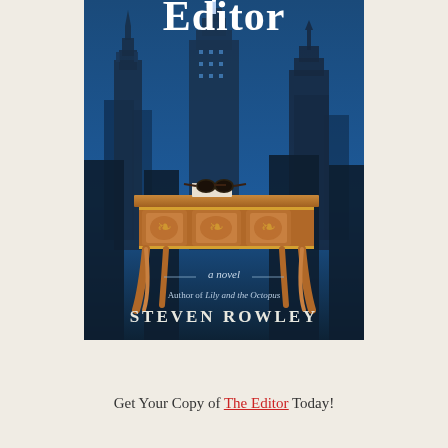[Figure (illustration): Book cover for 'The Editor' by Steven Rowley. Deep blue background with New York City skyline including the Chrysler Building and Empire State Building. An ornate golden desk sits in the foreground with a book and sunglasses on top. White serif title 'Editor' at the top, 'a novel' text in the middle, 'Author of Lily and the Octopus' and 'STEVEN ROWLEY' at the bottom.]
Get Your Copy of The Editor Today!